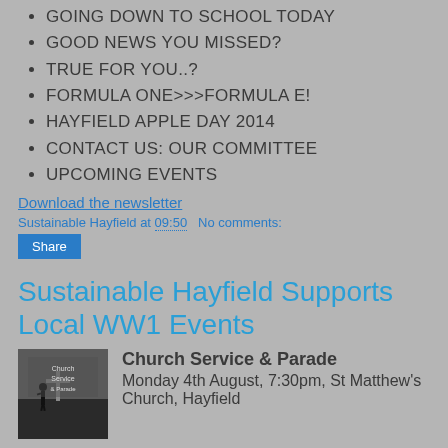GOING DOWN TO SCHOOL TODAY
GOOD NEWS YOU MISSED?
TRUE FOR YOU..?
FORMULA ONE>>>FORMULA E!
HAYFIELD APPLE DAY 2014
CONTACT US: OUR COMMITTEE
UPCOMING EVENTS
Download the newsletter
Sustainable Hayfield at 09:50   No comments:
Share
Sustainable Hayfield Supports Local WW1 Events
[Figure (photo): Photo/thumbnail for Church Service & Parade event showing a silhouette figure with a cross against a dark sky]
Church Service & Parade
Monday 4th August, 7:30pm, St Matthew's Church, Hayfield